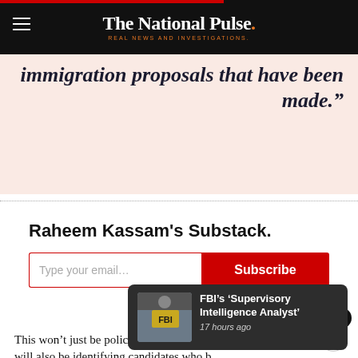The National Pulse. REAL NEWS AND INVESTIGATIONS.
immigration proposals that have been made.”
Raheem Kassam's Substack.
Type your email… Subscribe
FBI’s ‘Supervisory Intelligence Analyst’ 17 hours ago
This won’t just be policy discussion, however. The activists will also be identifying candidates who b